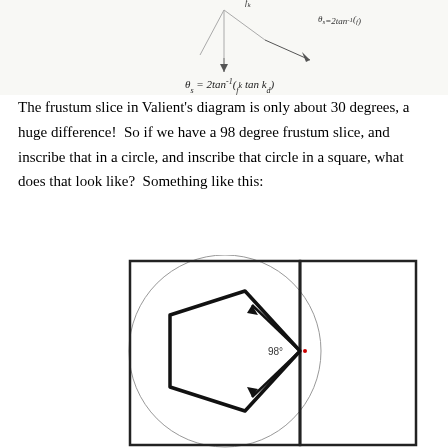[Figure (engineering-diagram): Handwritten geometric diagram at top showing frustum slice geometry with formula theta_s = 2tan^-1(f_k tan k_d) at the bottom]
The frustum slice in Valient's diagram is only about 30 degrees, a huge difference!  So if we have a 98 degree frustum slice, and inscribe that in a circle, and inscribe that circle in a square, what does that look like?  Something like this:
[Figure (engineering-diagram): Geometric diagram showing a frustum slice of 98 degrees inscribed in a circle, inscribed in a square. The left half shows the frustum wedge shape (a pentagon-like polygon with thick black lines and an arrow indicating the 98-degree angle), and a circle overlapping the square boundary. The right half shows the continuation of the circle extending beyond the square. The label '98°' appears near the center.]